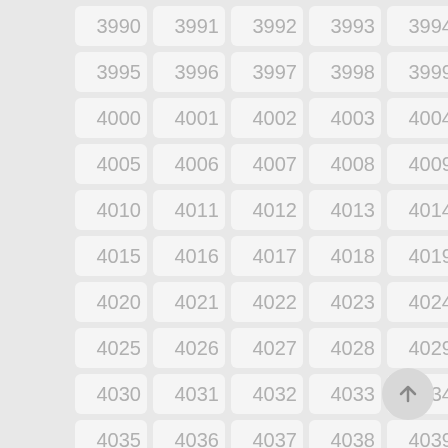[Figure (screenshot): A grid of numbered cells from 3990 to 4044 arranged in 5 columns, with a scroll-to-top button in the lower right corner.]